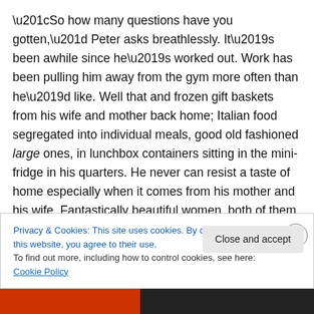“So how many questions have you gotten,” Peter asks breathlessly. It’s been awhile since he’s worked out. Work has been pulling him away from the gym more often than he’d like. Well that and frozen gift baskets from his wife and mother back home; Italian food segregated into individual meals, good old fashioned large ones, in lunchbox containers sitting in the mini-fridge in his quarters. He never can resist a taste of home especially when it comes from his mother and his wife. Fantastically beautiful women, both of them.
Privacy & Cookies: This site uses cookies. By continuing to use this website, you agree to their use.
To find out more, including how to control cookies, see here: Cookie Policy
Close and accept